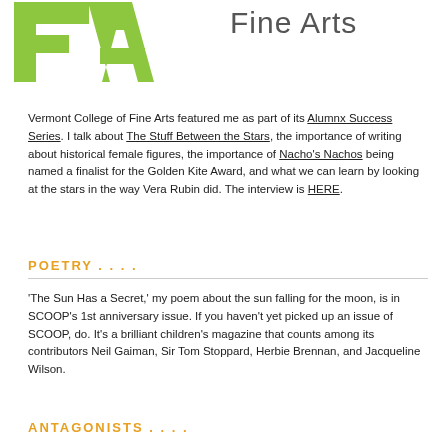[Figure (logo): FA logo in green with 'Fine Arts' text in grey to the right]
Vermont College of Fine Arts featured me as part of its Alumnx Success Series. I talk about The Stuff Between the Stars, the importance of writing about historical female figures, the importance of Nacho's Nachos being named a finalist for the Golden Kite Award, and what we can learn by looking at the stars in the way Vera Rubin did. The interview is HERE.
POETRY . . . .
'The Sun Has a Secret,' my poem about the sun falling for the moon, is in SCOOP's 1st anniversary issue. If you haven't yet picked up an issue of SCOOP, do. It's a brilliant children's magazine that counts among its contributors Neil Gaiman, Sir Tom Stoppard, Herbie Brennan, and Jacqueline Wilson.
ANTAGONISTS . . . .